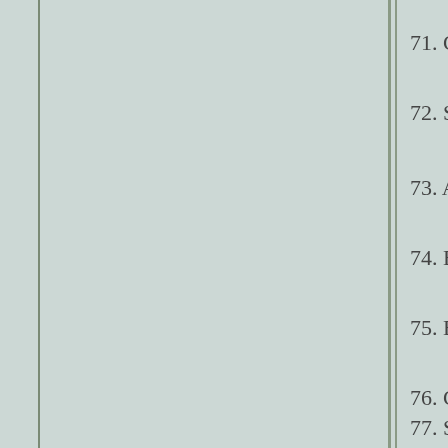71. Clique com...
72. Selections / m...
73. A...
74. Edit /...
75. Effects / 3d effe...
76. Clique com...
77. Selections / m...